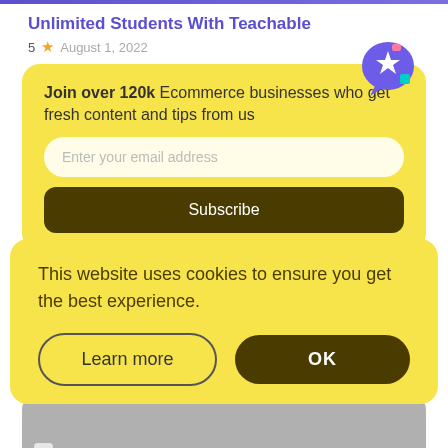Unlimited Students With Teachable
5 ★  August 1, 2022
[Figure (infographic): Yellow subscription box with 'Join over 120k Ecommerce businesses who get fresh content and tips from us', email input field, and Subscribe button, with a floating 3D star/chat bubble icon in top right]
[Figure (infographic): Yellow cookie consent popup with text 'This website uses cookies to ensure you get the best experience.' and two buttons: 'Learn more' (outline) and 'OK' (dark filled)]